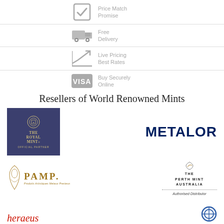[Figure (infographic): Feature row: checkmark icon with text 'Price Match Promise']
[Figure (infographic): Feature row: delivery truck icon with text 'Free Delivery']
[Figure (infographic): Feature row: trending arrow chart icon with text 'Live Pricing Best Rates']
[Figure (infographic): Feature row: VISA card icon with text 'Buy Securely Online']
Resellers of World Renowned Mints
[Figure (logo): The Royal Mint Official Partner logo - dark blue/purple background with gold text and crest]
[Figure (logo): METALOR logo in dark navy bold text]
[Figure (logo): PAMP - Produits Artistiques Metaux Precieux logo with decorative figure]
[Figure (logo): The Perth Mint Australia - Authorised Distributor logo with swan]
[Figure (logo): Heraeus logo in red italic text (partially visible)]
[Figure (logo): Circular logo (partially visible at bottom right)]